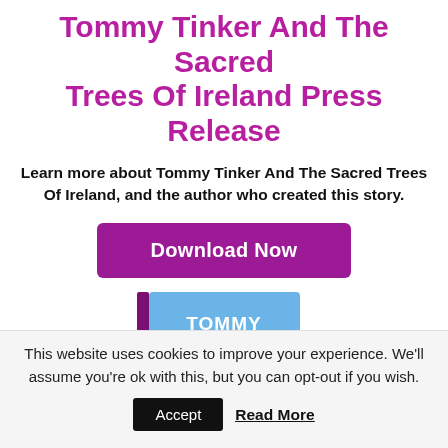Tommy Tinker And The Sacred Trees Of Ireland Press Release
Learn more about Tommy Tinker And The Sacred Trees Of Ireland, and the author who created this story.
[Figure (other): Purple Download Now button]
[Figure (illustration): Book cover of Tommy Tinker and the Lost Candy Factory showing two children characters with mountains in the background]
This website uses cookies to improve your experience. We'll assume you're ok with this, but you can opt-out if you wish.
Accept  Read More